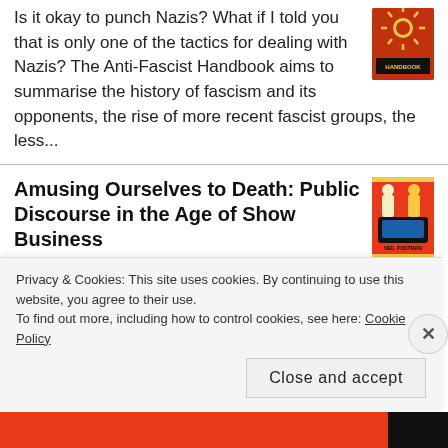Is it okay to punch Nazis? What if I told you that is only one of the tactics for dealing with Nazis? The Anti-Fascist Handbook aims to summarise the history of fascism and its opponents, the rise of more recent fascist groups, the less...
Amusing Ourselves to Death: Public Discourse in the Age of Show Business
by Neil Postman
Being prophetic is really easy when you make a "kids these days" argument. Amusing Ourselves to Death is Neil Postman's ode to the "good old days" before television when entertainment wasn't ruining everything. TV bad, reading good! I...
Privacy & Cookies: This site uses cookies. By continuing to use this website, you agree to their use.
To find out more, including how to control cookies, see here: Cookie Policy